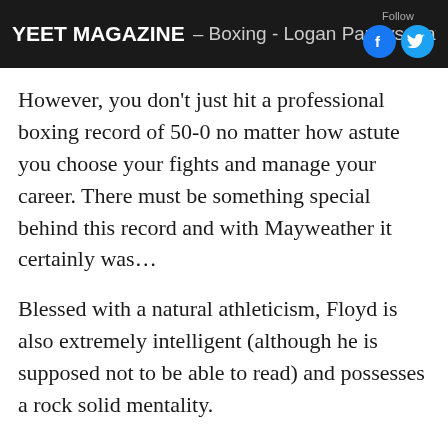YEET MAGAZINE — Boxing - Logan Paul vs Mayweather
However, you don't just hit a professional boxing record of 50-0 no matter how astute you choose your fights and manage your career. There must be something special behind this record and with Mayweather it certainly was…
Blessed with a natural athleticism, Floyd is also extremely intelligent (although he is supposed not to be able to read) and possesses a rock solid mentality.
The name Mayweather is synonymous with boxing. Floyd was literally born into a boxing dynasty. His two uncles were world champions, his uncle Roger made him a two nights world champion and his father and